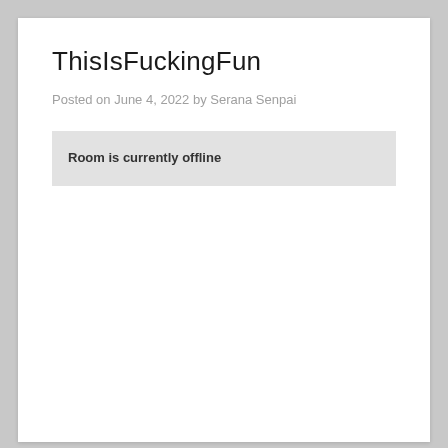ThisIsFuckingFun
Posted on June 4, 2022 by Serana Senpai
Room is currently offline